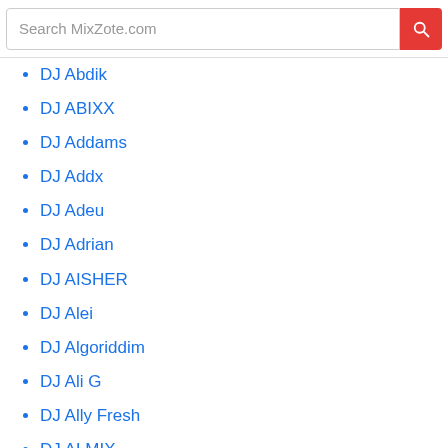Search MixZote.com
DJ Abdik
DJ ABIXX
DJ Addams
DJ Addx
DJ Adeu
DJ Adrian
DJ AISHER
DJ Alei
DJ Algoriddim
DJ Ali G
DJ Ally Fresh
DJ ALMIX
DJ Alphah
DJ Amuur